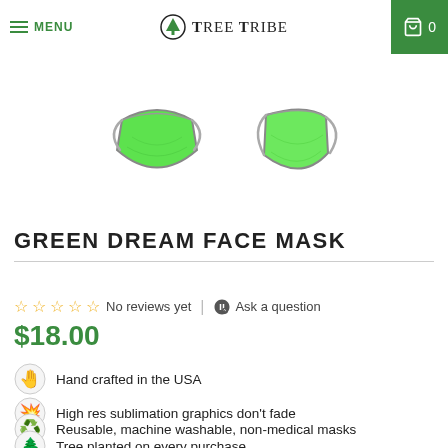MENU | Tree Tribe | Search | Cart 0
[Figure (photo): Two green face masks shown from different angles — front view and side view]
GREEN DREAM FACE MASK
☆☆☆☆☆ No reviews yet | Ask a question
$18.00
Hand crafted in the USA
High res sublimation graphics don't fade
Reusable, machine washable, non-medical masks
Tree planted on every purchase